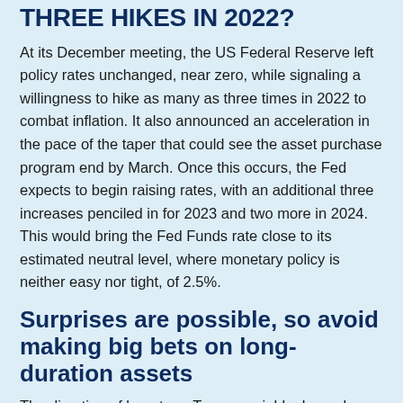THREE HIKES IN 2022?
At its December meeting, the US Federal Reserve left policy rates unchanged, near zero, while signaling a willingness to hike as many as three times in 2022 to combat inflation. It also announced an acceleration in the pace of the taper that could see the asset purchase program end by March. Once this occurs, the Fed expects to begin raising rates, with an additional three increases penciled in for 2023 and two more in 2024. This would bring the Fed Funds rate close to its estimated neutral level, where monetary policy is neither easy nor tight, of 2.5%.
Surprises are possible, so avoid making big bets on long-duration assets
The direction of long-term Treasury yields depends on how the Fed responds to current inflation. The Fed is